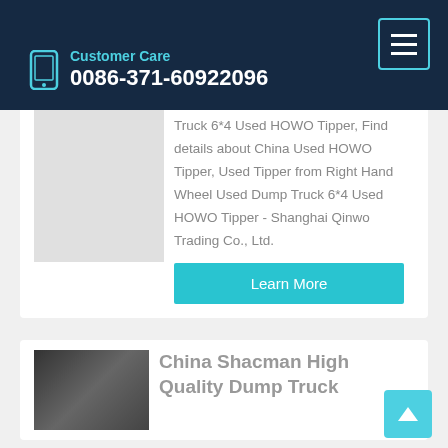Customer Care 0086-371-60922096
China Right Hand Wheel Used Dump Truck 6*4 Used HOWO Tipper, Find details about China Used HOWO Tipper, Used Tipper from Right Hand Wheel Used Dump Truck 6*4 Used HOWO Tipper - Shanghai Qinwo Trading Co., Ltd.
Learn More
China Shacman High Quality Dump Truck